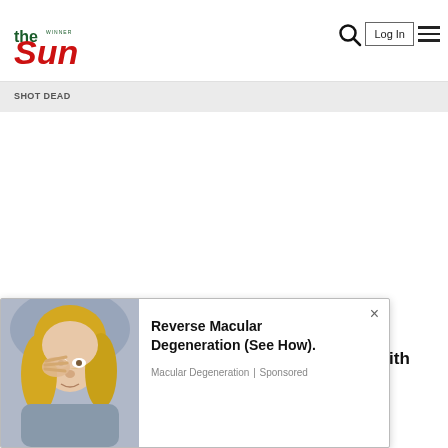The Sun — navigation bar with logo, search icon, Log In button, and hamburger menu
SHOT DEAD
Chelsea target Fofana too distracted to train with senior squad: Rodgers
[Figure (infographic): Advertisement overlay: photo of a blonde woman rubbing her eye, with ad text 'Reverse Macular Degeneration (See How).' from Macular Degeneration | Sponsored, with a close (×) button.]